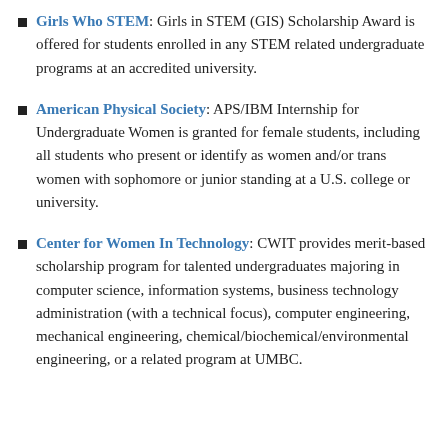Girls Who STEM: Girls in STEM (GIS) Scholarship Award is offered for students enrolled in any STEM related undergraduate programs at an accredited university.
American Physical Society: APS/IBM Internship for Undergraduate Women is granted for female students, including all students who present or identify as women and/or trans women with sophomore or junior standing at a U.S. college or university.
Center for Women In Technology: CWIT provides merit-based scholarship program for talented undergraduates majoring in computer science, information systems, business technology administration (with a technical focus), computer engineering, mechanical engineering, chemical/biochemical/environmental engineering, or a related program at UMBC.